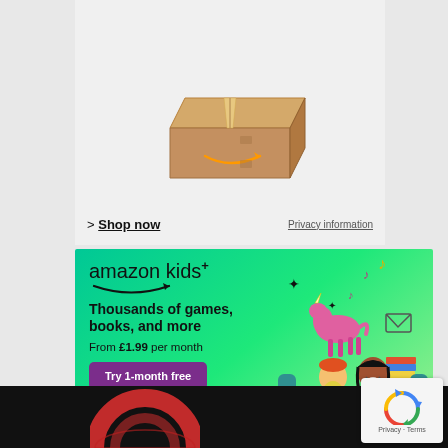[Figure (illustration): Amazon cardboard box with Amazon smile arrow logo on the side, tan/brown color, on white background]
> Shop now   Privacy information
[Figure (illustration): Amazon Kids+ advertisement with green gradient background. Shows 'amazon kids+' logo with smile, text 'Thousands of games, books, and more', 'From £1.99 per month', purple 'Try 1-month free' button, 'Terms apply' text, and illustration of two children sitting on a teal sofa using a tablet, with a pink unicorn, music notes, envelope, and stack of books floating around them.]
[Figure (illustration): Black footer bar with partial red globe/world graphic visible on the left side]
[Figure (other): reCAPTCHA widget box showing recycling-style arrows logo and 'Privacy · Terms' text at bottom]